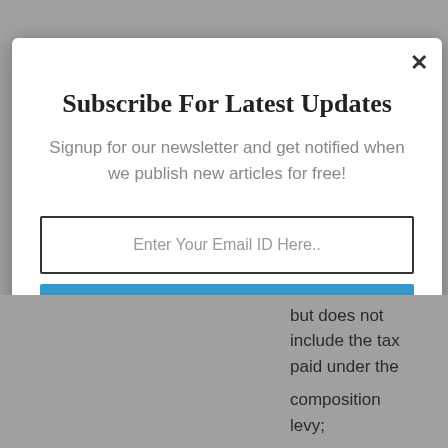Subscribe For Latest Updates
Signup for our newsletter and get notified when we publish new articles for free!
Enter Your Email ID Here..
SUBSCRIBE NOW
but does not include the tax paid under the composition levy;